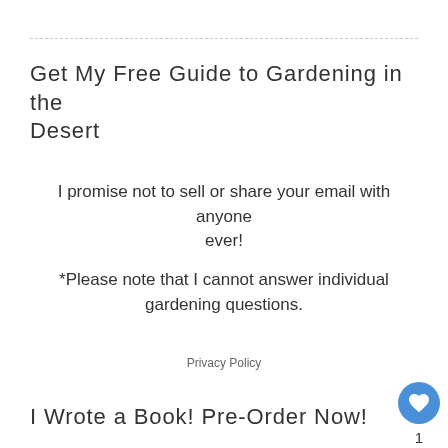Get My Free Guide to Gardening in the Desert
I promise not to sell or share your email with anyone ever!
*Please note that I cannot answer individual gardening questions.
Privacy Policy
I Wrote a Book! Pre-Order Now!